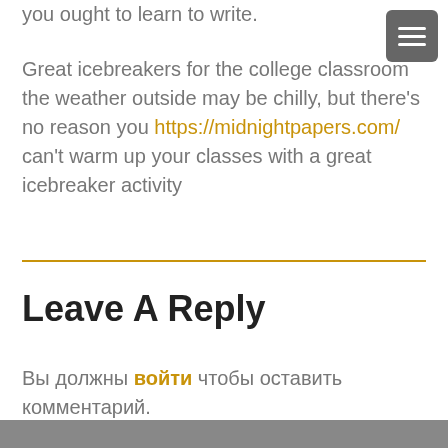you ought to learn to write.
Great icebreakers for the college classroom the weather outside may be chilly, but there's no reason you https://midnightpapers.com/ can't warm up your classes with a great icebreaker activity
Leave A Reply
Вы должны войти чтобы оставить комментарий.